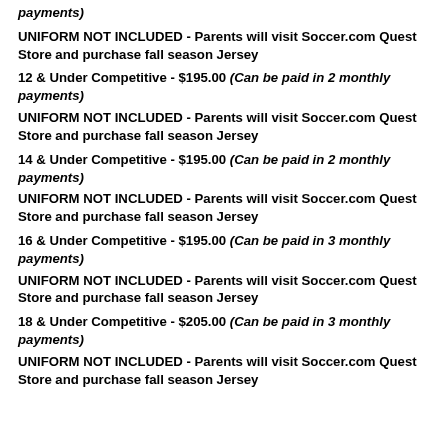payments)
UNIFORM NOT INCLUDED - Parents will visit Soccer.com Quest Store and purchase fall season Jersey
12 & Under Competitive - $195.00 (Can be paid in 2 monthly payments)
UNIFORM NOT INCLUDED - Parents will visit Soccer.com Quest Store and purchase fall season Jersey
14 & Under Competitive - $195.00 (Can be paid in 2 monthly payments)
UNIFORM NOT INCLUDED - Parents will visit Soccer.com Quest Store and purchase fall season Jersey
16 & Under Competitive - $195.00 (Can be paid in 3 monthly payments)
UNIFORM NOT INCLUDED - Parents will visit Soccer.com Quest Store and purchase fall season Jersey
18 & Under Competitive - $205.00 (Can be paid in 3 monthly payments)
UNIFORM NOT INCLUDED - Parents will visit Soccer.com Quest Store and purchase fall season Jersey